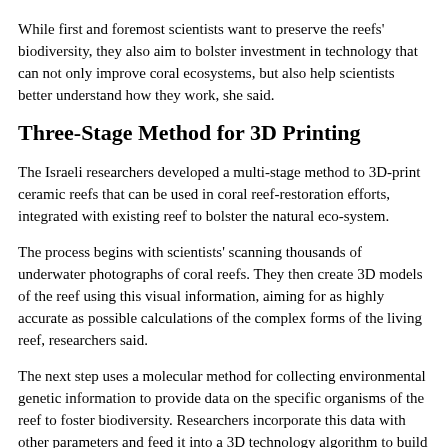While first and foremost scientists want to preserve the reefs' biodiversity, they also aim to bolster investment in technology that can not only improve coral ecosystems, but also help scientists better understand how they work, she said.
Three-Stage Method for 3D Printing
The Israeli researchers developed a multi-stage method to 3D-print ceramic reefs that can be used in coral reef-restoration efforts, integrated with existing reef to bolster the natural eco-system.
The process begins with scientists' scanning thousands of underwater photographs of coral reefs. They then create 3D models of the reef using this visual information, aiming for as highly accurate as possible calculations of the complex forms of the living reef, researchers said.
The next step uses a molecular method for collecting environmental genetic information to provide data on the specific organisms of the reef to foster biodiversity. Researchers incorporate this data with other parameters and feed it into a 3D technology algorithm to build a precise, parametric interactive model of a particular reef environment, they said.